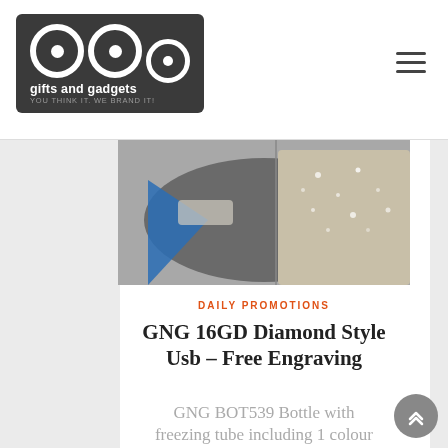[Figure (logo): GNG Gifts and Gadgets logo — white circles/rings on dark grey background with text 'gifts and gadgets' and 'YOU THINK IT. WE BRAND IT!']
[Figure (photo): Close-up photo of a diamond-style USB drive with glittery/crystal texture and blue accent, on a grey background]
DAILY PROMOTIONS
GNG 16GD Diamond Style Usb – Free Engraving
GNG BOT539 Bottle with freezing tube including 1 colour print